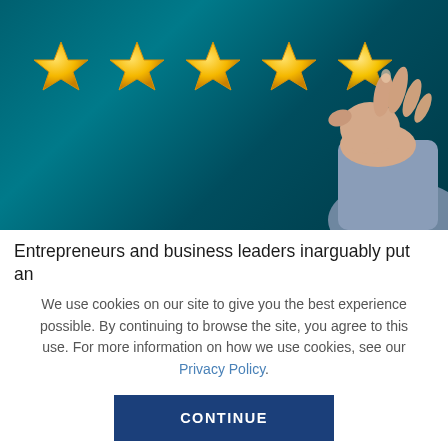[Figure (photo): A hand placing the fifth gold star in a row of five gold stars against a dark teal background, representing a 5-star rating.]
Entrepreneurs and business leaders inarguably put an
We use cookies on our site to give you the best experience possible. By continuing to browse the site, you agree to this use. For more information on how we use cookies, see our Privacy Policy.
CONTINUE